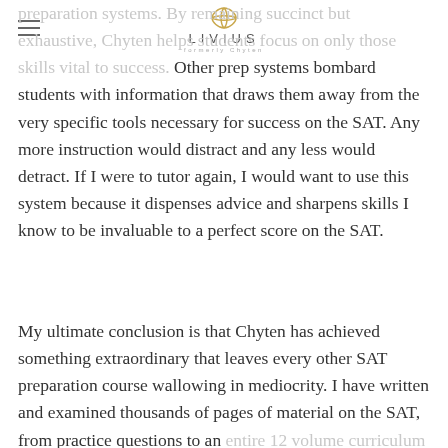LIVIUS (formerly Chyten)
preparation systems. By remaining succinct but exhaustive, Chyten helps students focus on only those skills vital to success. Other prep systems bombard students with information that draws them away from the very specific tools necessary for success on the SAT. Any more instruction would distract and any less would detract. If I were to tutor again, I would want to use this system because it dispenses advice and sharpens skills I know to be invaluable to a perfect score on the SAT.
My ultimate conclusion is that Chyten has achieved something extraordinary that leaves every other SAT preparation course wallowing in mediocrity. I have written and examined thousands of pages of material on the SAT, from practice questions to an entire 12 volume curriculum used in a different